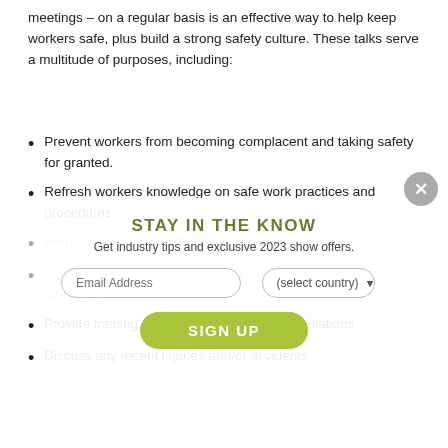meetings – on a regular basis is an effective way to help keep workers safe, plus build a strong safety culture. These talks serve a multitude of purposes, including:
Prevent workers from becoming complacent and taking safety for granted.
Refresh workers knowledge on safe work practices and procedures.
Remind workers of particular jobsite risks and hazards.
Make known recent changes to the jobsite and working conditions.
Provide training on new safety rules and regulations.
Discuss any recent injuries and/or accidents
[Figure (other): Email signup overlay modal with heading 'STAY IN THE KNOW', subtitle 'Get industry tips and exclusive 2023 show offers.', email address input field, country select dropdown, and a green 'SIGN UP' button. A grey circular close (×) button appears in the top-right corner of the overlay.]